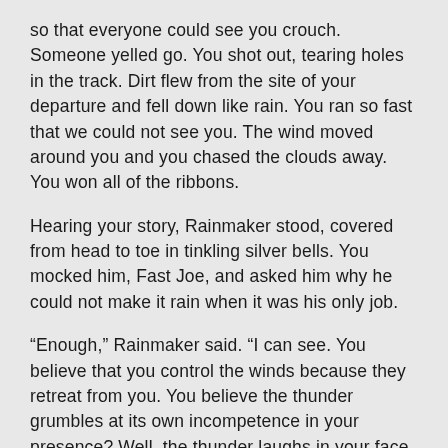so that everyone could see you crouch. Someone yelled go. You shot out, tearing holes in the track. Dirt flew from the site of your departure and fell down like rain. You ran so fast that we could not see you. The wind moved around you and you chased the clouds away. You won all of the ribbons.
Hearing your story, Rainmaker stood, covered from head to toe in tinkling silver bells. You mocked him, Fast Joe, and asked him why he could not make it rain when it was his only job.
“Enough,” Rainmaker said. “I can see. You believe that you control the winds because they retreat from you. You believe the thunder grumbles at its own incompetence in your presence? Well, the thunder laughs in your face, Fast Joe, as I do. You do not dodge the lightning. The lightning has bad aim. It falls